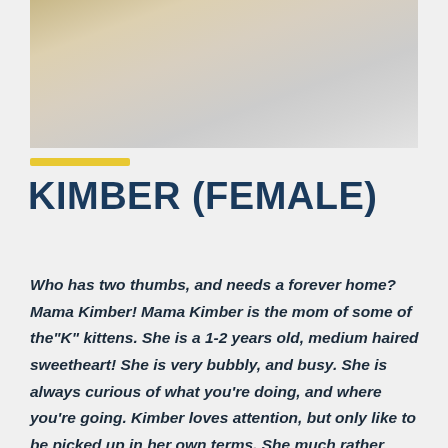[Figure (photo): Close-up photo of a cat or soft fur texture, warm beige and grey tones, top portion of the page]
KIMBER (FEMALE)
Who has two thumbs, and needs a forever home? Mama Kimber! Mama Kimber is the mom of some of the"K" kittens. She is a 1-2 years old, medium haired sweetheart! She is very bubbly, and busy. She is always curious of what you're doing, and where you're going. Kimber loves attention, but only like to be picked up in her own terms. She much rather prefers to come into your lap, when she's ready. She loves toys, doesn't mind the other